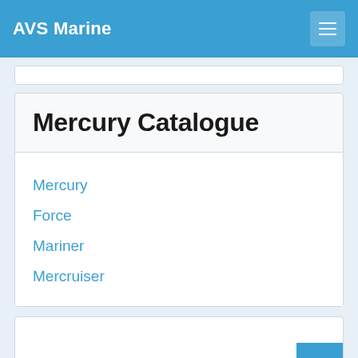AVS Marine
Mercury Catalogue
Mercury
Force
Mariner
Mercruiser